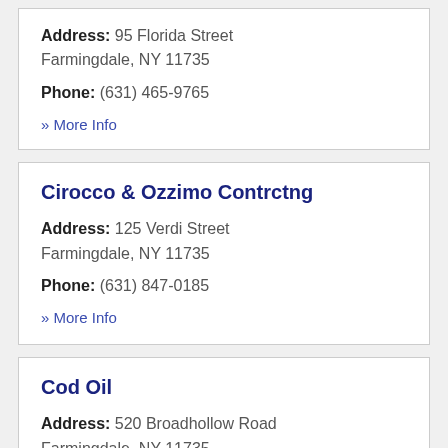Address: 95 Florida Street Farmingdale, NY 11735
Phone: (631) 465-9765
» More Info
Cirocco & Ozzimo Contrctng
Address: 125 Verdi Street Farmingdale, NY 11735
Phone: (631) 847-0185
» More Info
Cod Oil
Address: 520 Broadhollow Road Farmingdale, NY 11735